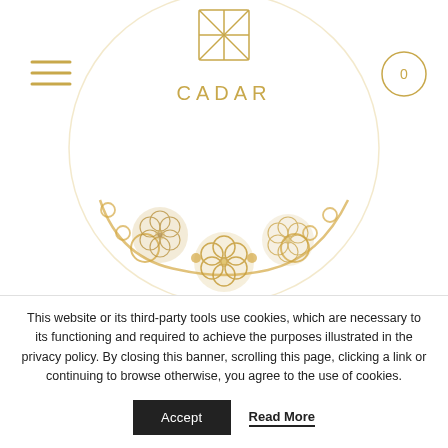[Figure (photo): Jewelry website screenshot showing a gold necklace/bracelet with flower motifs and circular chain links on a white background, with CADAR brand logo at top center, hamburger menu at top left, and cart icon at top right]
This website or its third-party tools use cookies, which are necessary to its functioning and required to achieve the purposes illustrated in the privacy policy. By closing this banner, scrolling this page, clicking a link or continuing to browse otherwise, you agree to the use of cookies.
Accept
Read More